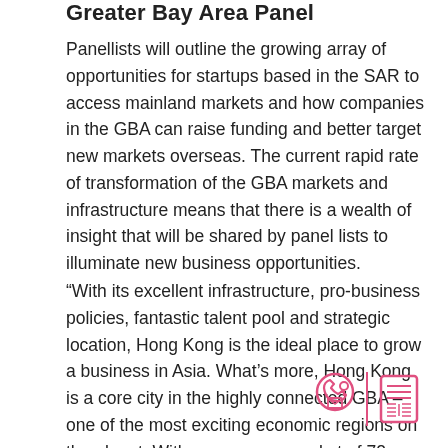Greater Bay Area Panel
Panellists will outline the growing array of opportunities for startups based in the SAR to access mainland markets and how companies in the GBA can raise funding and better target new markets overseas. The current rapid rate of transformation of the GBA markets and infrastructure means that there is a wealth of insight that will be shared by panel lists to illuminate new business opportunities.
“With its excellent infrastructure, pro-business policies, fantastic talent pool and strategic location, Hong Kong is the ideal place to grow a business in Asia. What’s more, Hong Kong is a core city in the highly connected GBA – one of the most exciting economic regions on the planet. With a consumer market of 72 million, many of China’s most innovative businesses, high manufacturing, research and development
[Figure (illustration): Pink/magenta icons: a phone with envelope and location pin, a vertical divider line, and a document/newspaper icon]